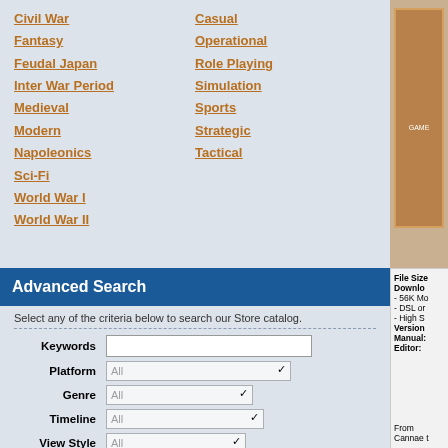Civil War
Fantasy
Feudal Japan
Inter War Period
Medieval
Modern
Napoleonics
Sci-Fi
World War I
World War II
Casual
Operational
Role Playing
Simulation
Sports
Strategic
Tactical
Advanced Search
Select any of the criteria below to search our Store catalog.
Keywords
Platform  All
Genre  All
Timeline  All
View Style  All
Play Style  All
File Size
Download
- 56K Mo
- DSL or
- High S
Version
Manual:
Editor:
From Cannae t